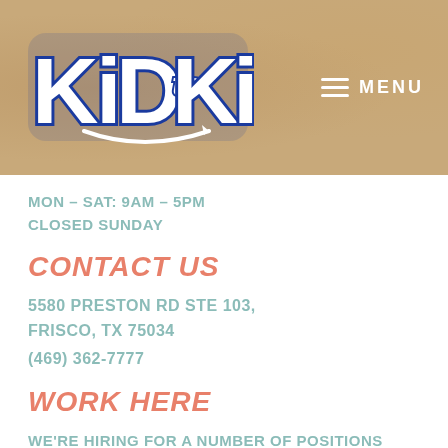[Figure (logo): Kid to Kid logo in white text on tan/kraft paper background, with blue outlined bubble letters. Hamburger menu icon and MENU text in white on the right side.]
MON – SAT: 9AM – 5PM
CLOSED SUNDAY
CONTACT US
5580 PRESTON RD STE 103,
FRISCO, TX 75034
(469) 362-7777
WORK HERE
WE'RE HIRING FOR A NUMBER OF POSITIONS
CLICK HERE TO APPLY!